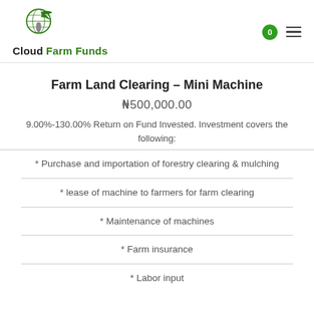Cloud Farm Funds
Farm Land Clearing – Mini Machine
₦500,000.00
9.00%-130.00% Return on Fund Invested. Investment covers the following:
* Purchase and importation of forestry clearing & mulching
* lease of machine to farmers for farm clearing
* Maintenance of machines
* Farm insurance
* Labor input